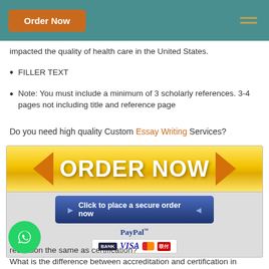Order Now
impacted the quality of health care in the United States.
FILLER TEXT
Note: You must include a minimum of 3 scholarly references. 3-4 pages not including title and reference page
Do you need high quality Custom Essay Writing Services?
[Figure (infographic): ORDER NOW button banner with yellow/gold gradient background and orange arrows on left and right. Below it a blue 'Click to place a secure order now' button, and PayPal/BANK/VISA/Mastercard/UnionPay payment icons.]
reditation the same as certification? What is the difference between accreditation and certification in